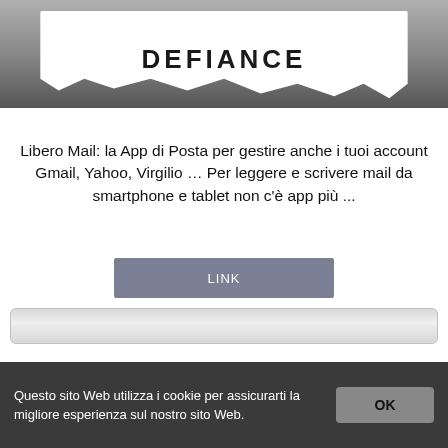[Figure (screenshot): Partial screenshot of a newspaper/magazine cover being torn, with stylized text reading 'DEFIANCE' visible at the top]
Libero Mail: la App di Posta per gestire anche i tuoi account Gmail, Yahoo, Virgilio … Per leggere e scrivere mail da smartphone e tablet non c'è app più ...
LINK
ANTEPRIMA
Questo sito Web utilizza i cookie per assicurarti la migliore esperienza sul nostro sito Web.
OK